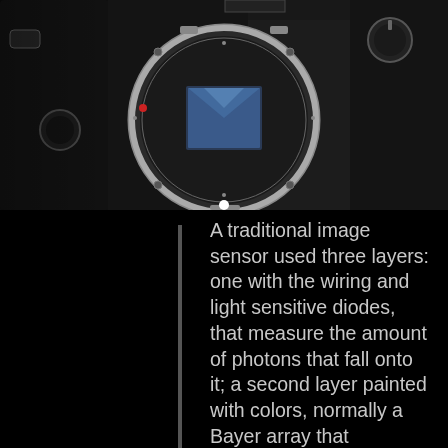[Figure (photo): Close-up photograph of a mirrorless camera body showing the lens mount, image sensor (blue-tinted), silver mount ring, and camera body with textured grip on black background.]
A traditional image sensor used three layers: one with the wiring and light sensitive diodes, that measure the amount of photons that fall onto it; a second layer painted with colors, normally a Bayer array that proposes a four pixel pattern (two green, one blue and one red) t…